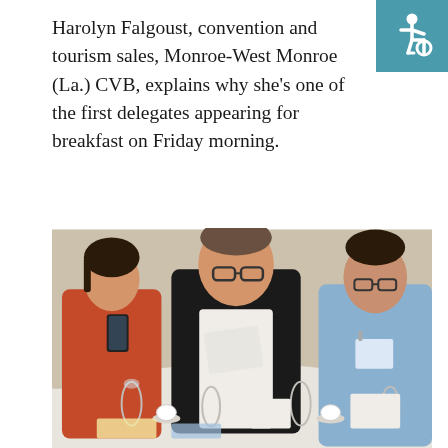[Figure (logo): Accessibility icon — wheelchair symbol in white on teal/blue square background, top-right corner]
Harolyn Falgoust, convention and tourism sales, Monroe-West Monroe (La.) CVB, explains why she’s one of the first delegates appearing for breakfast on Friday morning.
[Figure (photo): Three people seated at a round banquet table set for a breakfast meeting. On the left, a woman in a red/orange blazer looks at her phone. In the center, a heavyset man in a black jacket and white shirt holds papers and smiles. On the right, a man in a light blue shirt holds a badge and smiles. The table has glasses, coffee cups, plates, and conference materials.]